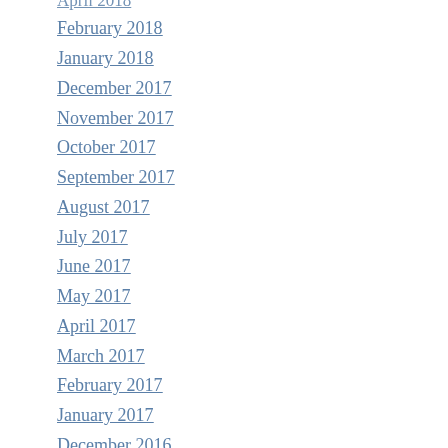April 2018
February 2018
January 2018
December 2017
November 2017
October 2017
September 2017
August 2017
July 2017
June 2017
May 2017
April 2017
March 2017
February 2017
January 2017
December 2016
November 2016
October 2016
September 2016